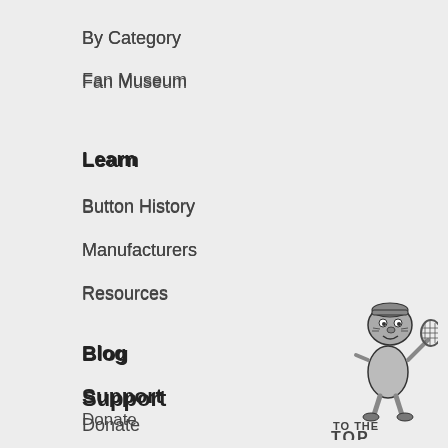By Category
Fan Museum
Learn
Button History
Manufacturers
Resources
Blog
Support
Donate
Volunteer
Donate Buttons
[Figure (illustration): Cartoon mascot bee or chipmunk character holding a racket, with text 'TO THE TOP' below it in bold dark letters]